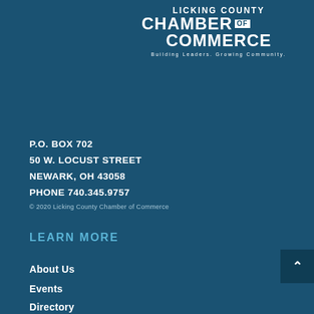[Figure (logo): Licking County Chamber of Commerce logo with tagline 'Building Leaders. Growing Community.']
P.O. BOX 702
50 W. LOCUST STREET
NEWARK, OH 43058
PHONE 740.345.9757
© 2020 Licking County Chamber of Commerce
LEARN MORE
About Us
Events
Directory